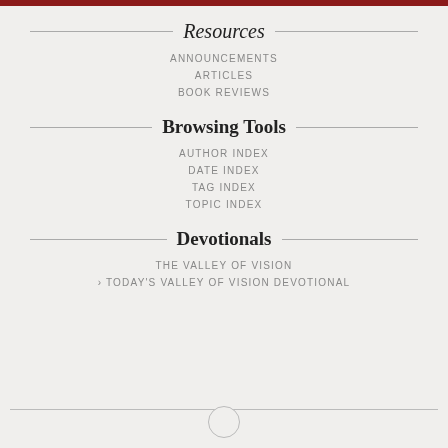Resources
ANNOUNCEMENTS
ARTICLES
BOOK REVIEWS
Browsing Tools
AUTHOR INDEX
DATE INDEX
TAG INDEX
TOPIC INDEX
Devotionals
THE VALLEY OF VISION
› TODAY'S VALLEY OF VISION DEVOTIONAL